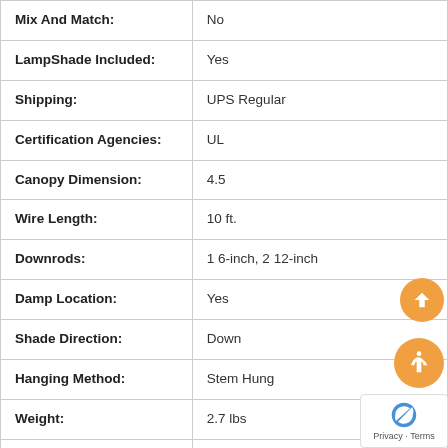| Attribute | Value |
| --- | --- |
| Mix And Match: | No |
| LampShade Included: | Yes |
| Shipping: | UPS Regular |
| Certification Agencies: | UL |
| Canopy Dimension: | 4.5 |
| Wire Length: | 10 ft. |
| Downrods: | 1 6-inch, 2 12-inch |
| Damp Location: | Yes |
| Shade Direction: | Down |
| Hanging Method: | Stem Hung |
| Weight: | 2.7 lbs |
| Kelvin Temperature: | 2100 |